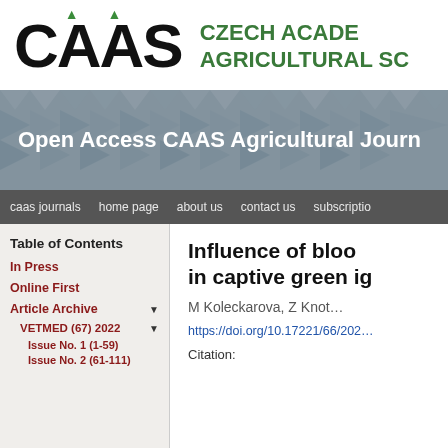[Figure (logo): CAAS logo with triangles and organization name Czech Academy of Agricultural Sciences]
[Figure (illustration): Banner with geometric triangle pattern background and text 'Open Access CAAS Agricultural Journals']
caas journals   home page   about us   contact us   subscription
Table of Contents
In Press
Online First
Article Archive
VETMED (67) 2022
Issue No. 1 (1-59)
Issue No. 2 (61-111)
Influence of blood... in captive green ig...
M Koleckarova, Z Knot...
https://doi.org/10.17221/66/202...
Citation: